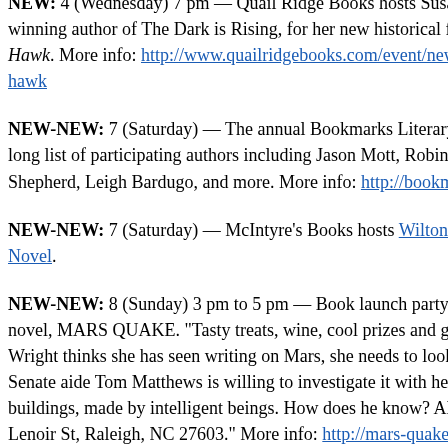NEW: 4 (Wednesday) 7 pm — Quail Ridge Books hosts Susan Cooper, award-winning author of The Dark is Rising, for her new historical fiction Ghost Hawk. More info: http://www.quailridgebooks.com/event/newb...hawk
NEW-NEW: 7 (Saturday) — The annual Bookmarks Literary Festival features a long list of participating authors including Jason Mott, Robin H..., Shepherd, Leigh Bardugo, and more. More info: http://bookmar...
NEW-NEW: 7 (Saturday) — McIntyre's Books hosts Wilton B... Novel.
NEW-NEW: 8 (Sunday) 3 pm to 5 pm — Book launch party fo... novel, MARS QUAKE. "Tasty treats, wine, cool prizes and give... Wright thinks she has seen writing on Mars, she needs to look t... Senate aide Tom Matthews is willing to investigate it with her, b... buildings, made by intelligent beings. How does he know? ADD... Lenoir St, Raleigh, NC 27603." More info: http://mars-quake-be...
NEW-NEW: 8 (Sunday) 2 pm — Club of Book lovers...